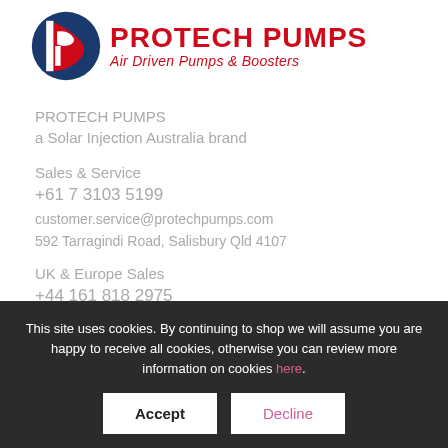[Figure (logo): Protech Pumps logo: red and blue stylized 'P' icon with red bold text 'PROTECH PUMPS' and red italic subtitle 'Air Driven Pumps & Boosters']
PROTECH PUMPS
a Solar Injection Australia brand
Sales & Service
+61 7 3103 5199
customer.service@protechpumps.com
592 Tarragindi Road, Salisbury Qld 4107
UK & Europe Sales
+44 161 818 2975
This site uses cookies. By continuing to shop we will assume you are happy to receive all cookies, otherwise you can review more information on cookies here.